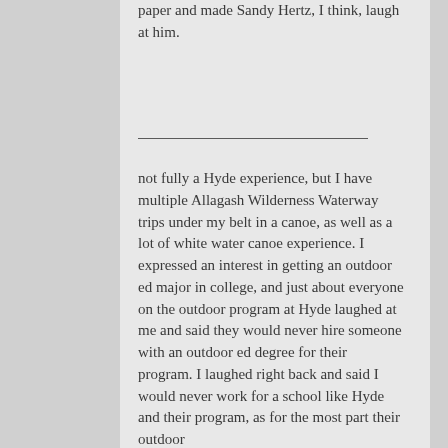paper and made Sandy Hertz, I think, laugh at him.
not fully a Hyde experience, but I have multiple Allagash Wilderness Waterway trips under my belt in a canoe, as well as a lot of white water canoe experience. I expressed an interest in getting an outdoor ed major in college, and just about everyone on the outdoor program at Hyde laughed at me and said they would never hire someone with an outdoor ed degree for their program. I laughed right back and said I would never work for a school like Hyde and their program, as for the most part their outdoor